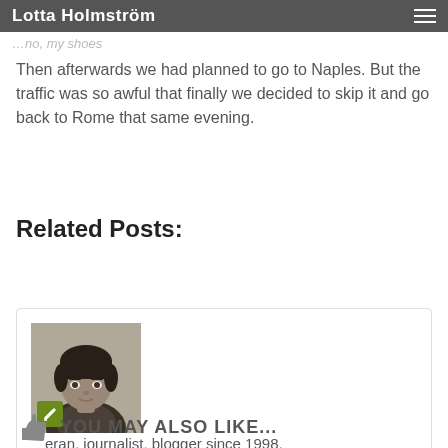Lotta Holmström
Then afterwards we had planned to go to Naples. But the traffic was so awful that finally we decided to skip it and go back to Rome that same evening.
Related Posts:
[Figure (photo): Author profile box with black and white portrait photo of a woman with short dark hair, an edit icon overlaid on the photo, bio text reading: veteran, journalist, blogger since 1998, loves ...ity and originality, photography and her family. [More]]
YOU MAY ALSO LIKE...